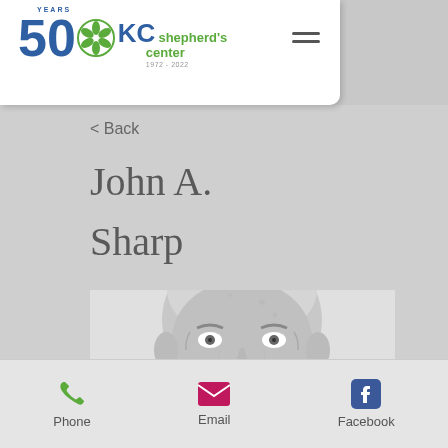KC Shepherd's Center 50 Years 1972-2022
< Back
John A.
Sharp
[Figure (photo): Black and white close-up photograph of an elderly man's face, showing wrinkled skin and a bald head, looking directly at the camera]
Phone  Email  Facebook